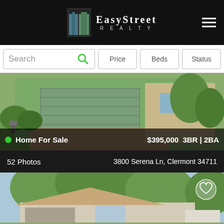[Figure (logo): EasyStreet Realty logo on black header bar with hamburger menu icon]
[Figure (screenshot): Search bar with Price, Beds, Status filter buttons]
[Figure (photo): Home for sale exterior photo showing garage and driveway with green landscaping. Overlay: green dot, Home For Sale, $395,000 3BR | 2BA]
52 Photos      3800 Serena Ln, Clermont 34711
[Figure (photo): Second home listing exterior photo showing house with trees and heart/favorite icon]
Call to Schedule a Showing
(407) 641-2236